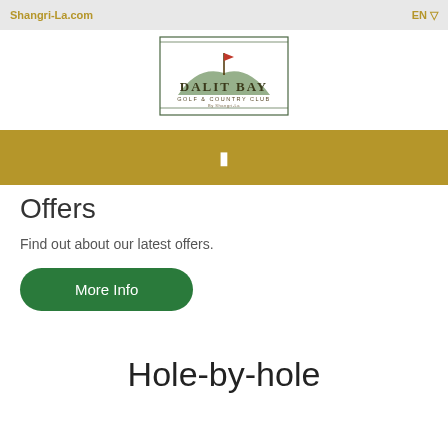Shangri-La.com    EN
[Figure (logo): Dalit Bay Golf & Country Club logo with golf flag on hill inside rectangular border]
[Figure (other): Gold/tan navigation bar with a small icon/button in the center]
Offers
Find out about our latest offers.
More Info
Hole-by-hole